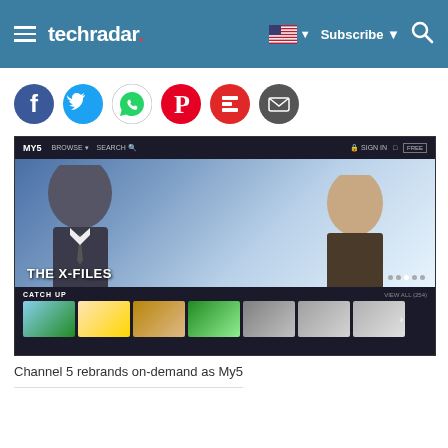techradar | Subscribe | Search
[Figure (screenshot): Social sharing icons: Facebook, Twitter, WhatsApp, Pinterest, Flipboard, Email]
[Figure (screenshot): Screenshot of My5 streaming website showing The X-Files hero image with two actors, a catch-up section with thumbnail thumbnails below, navigation bar at top reading MY5, BROWSE, SEARCH, SIGN IN]
Channel 5 rebrands on-demand as My5